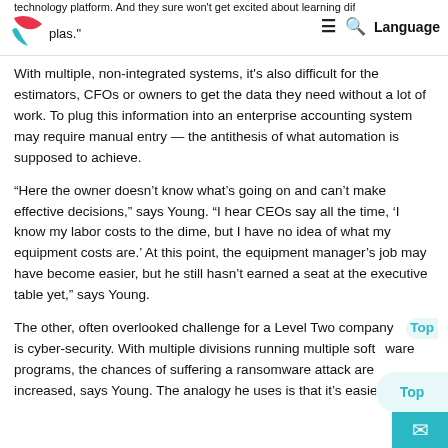pla...s." ☰ 🔍 Language
With multiple, non-integrated systems, it's also difficult for the estimators, CFOs or owners to get the data they need without a lot of work. To plug this information into an enterprise accounting system may require manual entry — the antithesis of what automation is supposed to achieve.
“Here the owner doesn’t know what’s going on and can’t make effective decisions,” says Young. “I hear CEOs say all the time, ‘I know my labor costs to the dime, but I have no idea of what my equipment costs are.’ At this point, the equipment manager’s job may have become easier, but he still hasn’t earned a seat at the executive table yet,” says Young.
The other, often overlooked challenge for a Level Two company is cyber-security. With multiple divisions running multiple software programs, the chances of suffering a ransomware attack are increased, says Young. The analogy he uses is that it’s easier t...